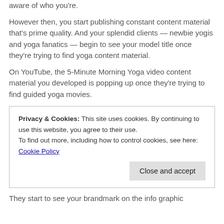aware of who you're.
However then, you start publishing constant content material that's prime quality. And your splendid clients — newbie yogis and yoga fanatics — begin to see your model title once they're trying to find yoga content material.
On YouTube, the 5-Minute Morning Yoga video content material you developed is popping up once they're trying to find guided yoga movies.
Privacy & Cookies: This site uses cookies. By continuing to use this website, you agree to their use.
To find out more, including how to control cookies, see here: Cookie Policy
[Close and accept button]
They start to see your brandmark on the info graphic